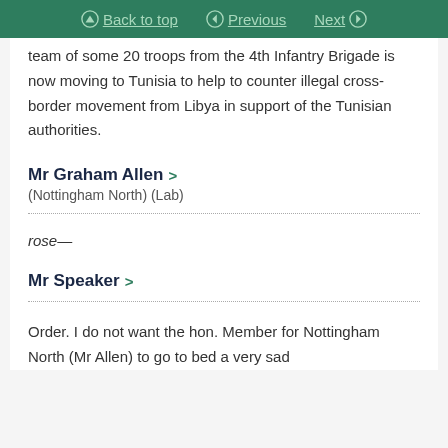Back to top | Previous | Next
team of some 20 troops from the 4th Infantry Brigade is now moving to Tunisia to help to counter illegal cross-border movement from Libya in support of the Tunisian authorities.
Mr Graham Allen >
(Nottingham North) (Lab)
rose—
Mr Speaker >
Order. I do not want the hon. Member for Nottingham North (Mr Allen) to go to bed a very sad man by denying him an opportunity to ask the